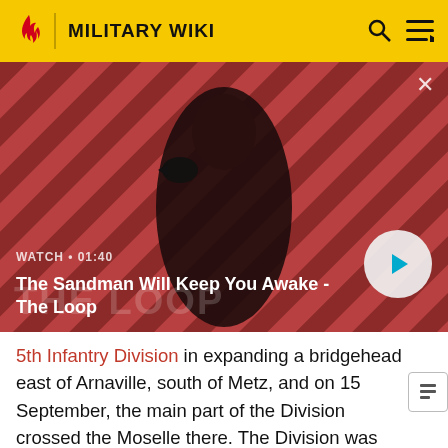MILITARY WIKI
[Figure (screenshot): Video thumbnail for 'The Sandman Will Keep You Awake - The Loop' with watch time 01:40, showing a dark figure with a raven on a red/black diagonal striped background. Includes a play button.]
WATCH • 01:40
The Sandman Will Keep You Awake - The Loop
5th Infantry Division in expanding a bridgehead east of Arnaville, south of Metz, and on 15 September, the main part of the Division crossed the Moselle there. The Division was repulsed in its attacks across the Seille River at and near Sillegny, part of an attack in conjunction with